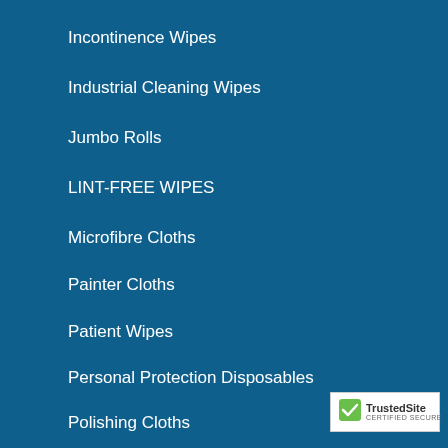Incontinence Wipes
Industrial Cleaning Wipes
Jumbo Rolls
LINT-FREE WIPES
Microfibre Cloths
Painter Cloths
Patient Wipes
Personal Protection Disposables
Polishing Cloths
Printers Wipes
[Figure (logo): TrustedSite Certified Secure badge with green checkmark]